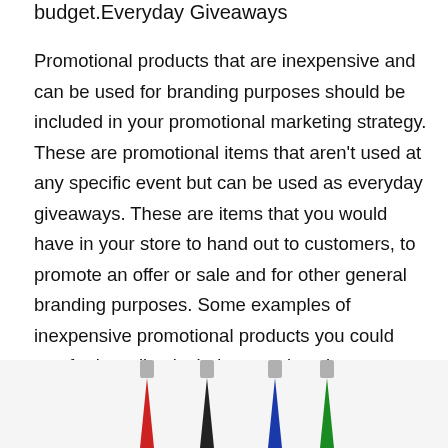budget.Everyday Giveaways
Promotional products that are inexpensive and can be used for branding purposes should be included in your promotional marketing strategy. These are promotional items that aren't used at any specific event but can be used as everyday giveaways. These are items that you would have in your store to hand out to customers, to promote an offer or sale and for other general branding purposes. Some examples of inexpensive promotional products you could use for branding include pens, koozies, totes and drinkware.
[Figure (photo): Four pens (red, black, blue, green) with silver tops photographed from above at an angle, partially visible at the bottom of the page]